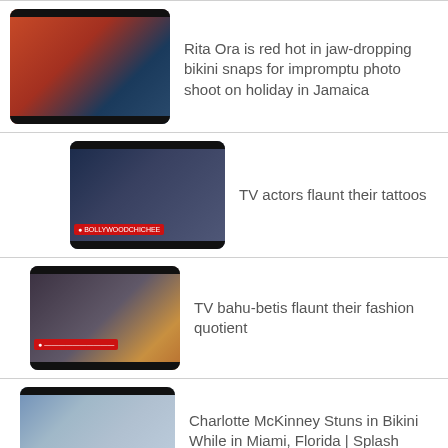Rita Ora is red hot in jaw-dropping bikini snaps for impromptu photo shoot on holiday in Jamaica
TV actors flaunt their tattoos
TV bahu-betis flaunt their fashion quotient
Charlotte McKinney Stuns in Bikini While in Miami, Florida | Splash News TV
Love Island's Zara Holland flaunts her assets in